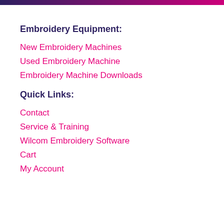Embroidery Equipment:
New Embroidery Machines
Used Embroidery Machine
Embroidery Machine Downloads
Quick Links:
Contact
Service & Training
Wilcom Embroidery Software
Cart
My Account